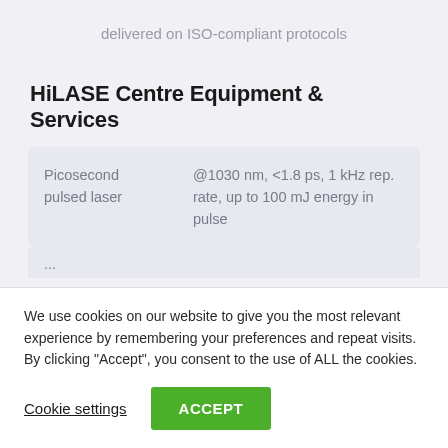delivered on ISO-compliant protocols
HiLASE Centre Equipment & Services
| Equipment | Specifications |
| --- | --- |
| Picosecond pulsed laser | @1030 nm, <1.8 ps, 1 kHz rep. rate, up to 100 mJ energy in pulse |
We use cookies on our website to give you the most relevant experience by remembering your preferences and repeat visits. By clicking "Accept", you consent to the use of ALL the cookies.
Cookie settings
ACCEPT